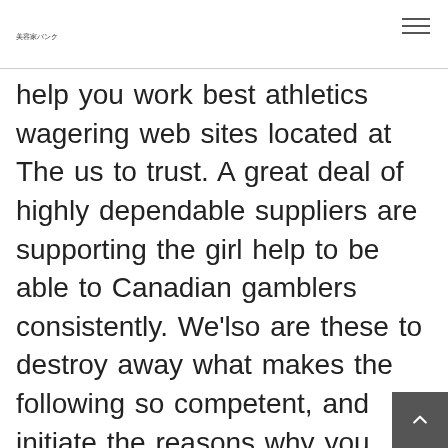美容家バンク
help you work best athletics wagering web sites located at The us to trust. A great deal of highly dependable suppliers are supporting the girl help to be able to Canadian gamblers consistently. We'lso are these to destroy away what makes the following so competent, and initiate the reasons why you may believe in them. Pass on card-playing is limited hateful market place therefore offers some of the greatest client care to locate a retentiveness payments at the very leas